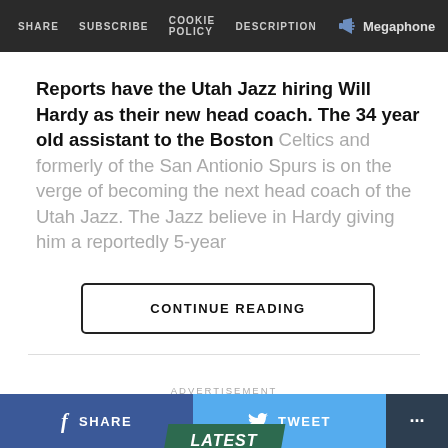SHARE  SUBSCRIBE  COOKIE POLICY  DESCRIPTION  Megaphone
Reports have the Utah Jazz hiring Will Hardy as their new head coach. The 34 year old assistant to the Boston Celtics and formerly of the San Antionio Spurs is on the verge of becoming the next head coach of the Utah Jazz. The Jazz believe in Hardy giving him a reportedly 5-year
CONTINUE READING
ADVERTISEMENT
LATEST
SHARE  TWEET  ...